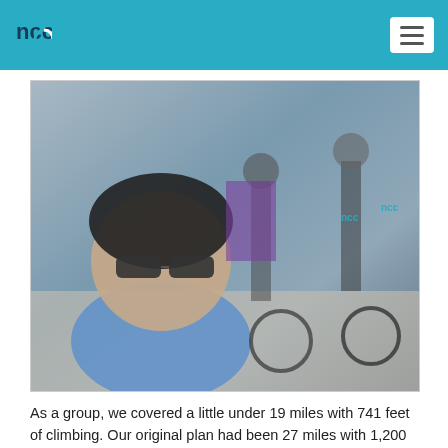ncc
[Figure (photo): Group selfie of cyclists with helmets and sunglasses at a cycling event. The foreground shows a smiling man with a black helmet and sunglasses in a light blue shirt. Behind him are several other cyclists with road bikes, some wearing NCC jerseys.]
As a group, we covered a little under 19 miles with 741 feet of climbing. Our original plan had been 27 miles with 1,200 feet of climbing, but 8 additional miles during a storm was not